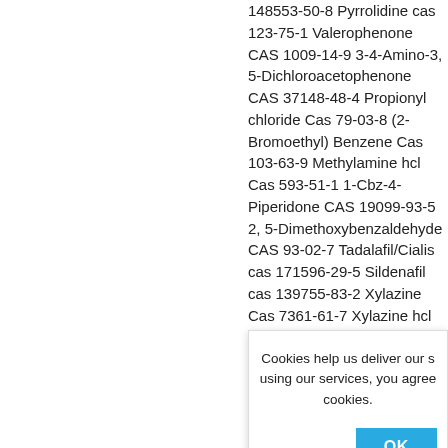148553-50-8 Pyrrolidine cas 123-75-1 Valerophenone CAS 1009-14-9 3-4-Amino-3, 5-Dichloroacetophenone CAS 37148-48-4 Propionyl chloride Cas 79-03-8 (2-Bromoethyl) Benzene Cas 103-63-9 Methylamine hcl Cas 593-51-1 1-Cbz-4-Piperidone CAS 19099-93-5 2, 5-Dimethoxybenzaldehyde CAS 93-02-7 Tadalafil/Cialis cas 171596-29-5 Sildenafil cas 139755-83-2 Xylazine Cas 7361-61-7 Xylazine hcl cas 23076-35-9 Procaine hcl
Cookies help us deliver our s using our services, you agree cookies.